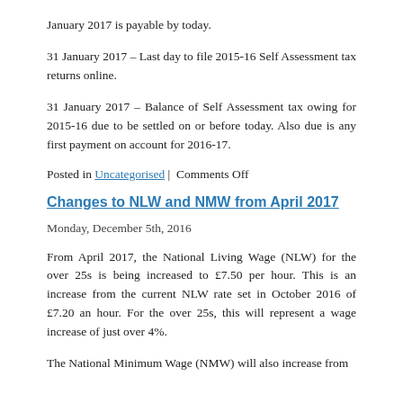January 2017 is payable by today.
31 January 2017 – Last day to file 2015-16 Self Assessment tax returns online.
31 January 2017 – Balance of Self Assessment tax owing for 2015-16 due to be settled on or before today. Also due is any first payment on account for 2016-17.
Posted in Uncategorised | Comments Off
Changes to NLW and NMW from April 2017
Monday, December 5th, 2016
From April 2017, the National Living Wage (NLW) for the over 25s is being increased to £7.50 per hour. This is an increase from the current NLW rate set in October 2016 of £7.20 an hour. For the over 25s, this will represent a wage increase of just over 4%.
The National Minimum Wage (NMW) will also increase from